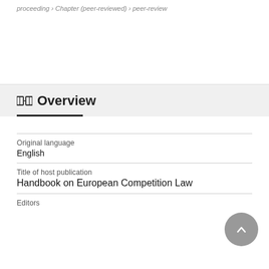proceeding › Chapter (peer-reviewed) › peer-review
Overview
| Field | Value |
| --- | --- |
| Original language | English |
| Title of host publication | Handbook on European Competition Law |
| Editors |  |